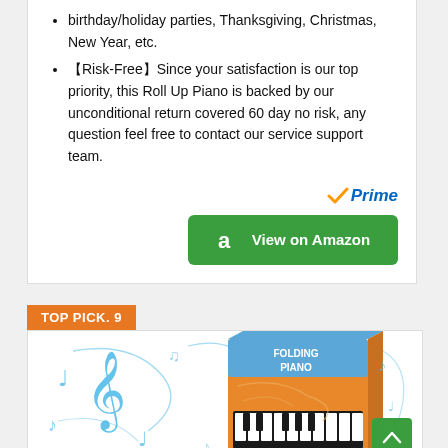birthday/holiday parties, Thanksgiving, Christmas, New Year, etc.
【Risk-Free】Since your satisfaction is our top priority, this Roll Up Piano is backed by our unconditional return covered 60 day no risk, any question feel free to contact our service support team.
[Figure (logo): Amazon Prime logo with checkmark and blue italic Prime text]
[Figure (other): Green button with Amazon 'a' logo and text 'View on Amazon']
TOP PICK. 9
[Figure (photo): Product photo of a Folding Piano box with blue musical notes and piano keyboard illustration on orange packaging]